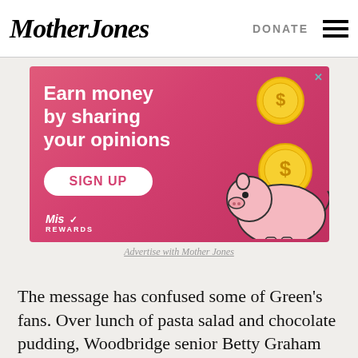Mother Jones | DONATE
[Figure (illustration): Advertisement banner for Miso Rewards: pink background with gold coins, piggy bank illustration, text 'Earn money by sharing your opinions', 'SIGN UP' button, Miso Rewards logo]
Advertise with Mother Jones
The message has confused some of Green's fans. Over lunch of pasta salad and chocolate pudding, Woodbridge senior Betty Graham wondered how